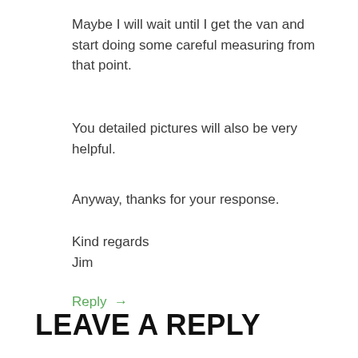Maybe I will wait until I get the van and start doing some careful measuring from that point.
You detailed pictures will also be very helpful.
Anyway, thanks for your response.
Kind regards
Jim
Reply →
LEAVE A REPLY